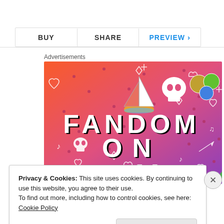BUY | SHARE | PREVIEW >
Advertisements
[Figure (illustration): Colorful Tumblr advertisement with orange-to-purple gradient background, doodle icons (sailboat, skull, dice), and large text reading 'FANDOM ON tumblr']
Privacy & Cookies: This site uses cookies. By continuing to use this website, you agree to their use.
To find out more, including how to control cookies, see here: Cookie Policy
Close and accept